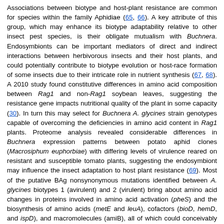Associations between biotype and host-plant resistance are common for species within the family Aphidiae (65, 66). A key attribute of this group, which may enhance its biotype adaptability relative to other insect pest species, is their obligate mutualism with Buchnera. Endosymbionts can be important mediators of direct and indirect interactions between herbivorous insects and their host plants, and could potentially contribute to biotype evolution or host-race formation of some insects due to their intricate role in nutrient synthesis (67, 68). A 2010 study found constitutive differences in amino acid composition between Rag1 and non-Rag1 soybean leaves, suggesting the resistance gene impacts nutritional quality of the plant in some capacity (30). In turn this may select for Buchnera A. glycines strain genotypes capable of overcoming the deficiencies in amino acid content in Rag1 plants. Proteome analysis revealed considerable differences in Buchnera expression patterns between potato aphid clones (Macrosiphum euphorbiae) with differing levels of virulence reared on resistant and susceptible tomato plants, suggesting the endosymbiont may influence the insect adaptation to host plant resistance (69). Most of the putative BAg nonsynonymous mutations identified between A. glycines biotypes 1 (avirulent) and 2 (virulent) bring about amino acid changes in proteins involved in amino acid activation (pheS) and the biosynthesis of amino acids (metE and leuA), cofactors (bioD, hemD, and ispD), and macromolecules (amiB), all of which could conceivably alter the nutrient profiles afforded by the different biotypes. Moreover, the genes bioD and ispD contain SNPs which change the chemical composition (i.e. polarity and pH) of the encoded amino acids, and could produce major changes to protein structure and stability (70).
Endosymbionts represent an important but often overlooked trophic level in aphid-plant interactions, and may contribute to the insect's differential adaptation to host plant resistance. Several A. glycines resistance genes